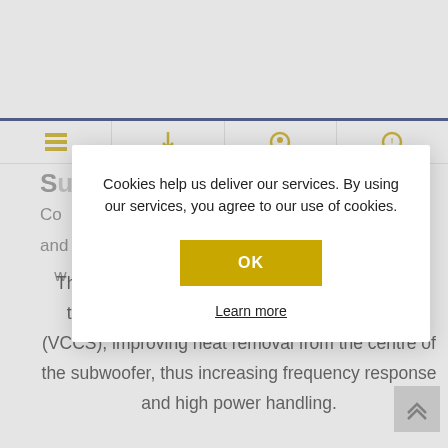[Figure (screenshot): Website navigation bar with navy blue horizontal rule and icon sections with gold icons]
Co... ...gth and... ...n is w...
Cookies help us deliver our services. By using our services, you agree to our use of cookies.
OK
Learn more
The TS-WX306T tube houses a durable woofer that is built with a Voice Coil Cooling System (VCCS), improving heat removal from the centre of the subwoofer, thus increasing frequency response and high power handling.